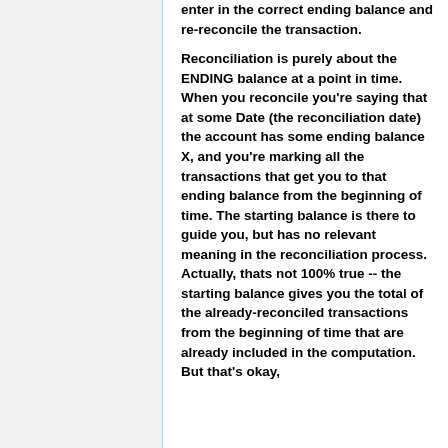enter in the correct ending balance and re-reconcile the transaction. Reconciliation is purely about the ENDING balance at a point in time. When you reconcile you're saying that at some Date (the reconciliation date) the account has some ending balance X, and you're marking all the transactions that get you to that ending balance from the beginning of time. The starting balance is there to guide you, but has no relevant meaning in the reconciliation process. Actually, thats not 100% true -- the starting balance gives you the total of the already-reconciled transactions from the beginning of time that are already included in the computation. But that's okay,